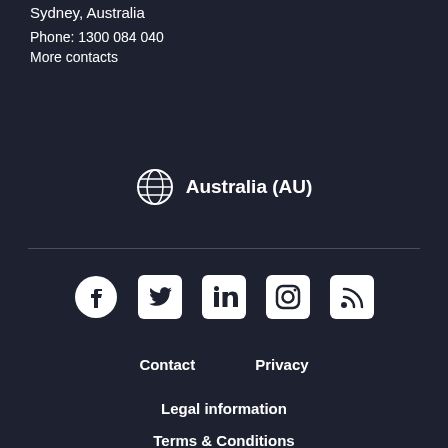Sydney, Australia
Phone: 1300 084 040
More contacts
🌐 Australia (AU)
[Figure (other): Social media icons row: Facebook, Twitter, LinkedIn, Instagram, RSS]
Contact   Privacy   Legal information   Terms & Conditions